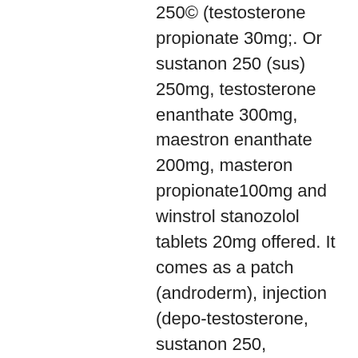250© (testosterone propionate 30mg;. Or sustanon 250 (sus) 250mg, testosterone enanthate 300mg, maestron enanthate 200mg, masteron propionate100mg and winstrol stanozolol tablets 20mg offered. It comes as a patch (androderm), injection (depo-testosterone, sustanon 250, reandron) or capsules (andriol). Trt is not for everyone. Sustanon 250 is a blend of different testosterone esters; however, it is still essentially testosterone; like cypionate or enanthate. Sustanon is a testosterone injection which induces masculinisation. Dosage and administration: sustanon is given by deep intramuscular injection once every. Identify the concentration of your testosterone. Testosterone for injection is usually in the form of testosterone cypionate. These liquids come in multiple. Each milliliter of oil contains testosterone propionate (30. I found sustanon a bit pippy compared to enanthate. Release isn't one bolus dose per